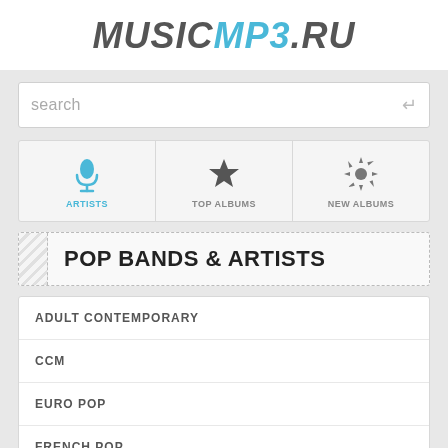[Figure (logo): MUSICMP3.RU logo in italic bold text, MUSIC in dark gray, MP3 in light blue, .RU in dark gray]
search
[Figure (infographic): Navigation tabs with three options: ARTISTS (microphone icon, active in blue), TOP ALBUMS (star icon), NEW ALBUMS (gear/flower icon)]
POP BANDS & ARTISTS
ADULT CONTEMPORARY
CCM
EURO POP
FRENCH POP